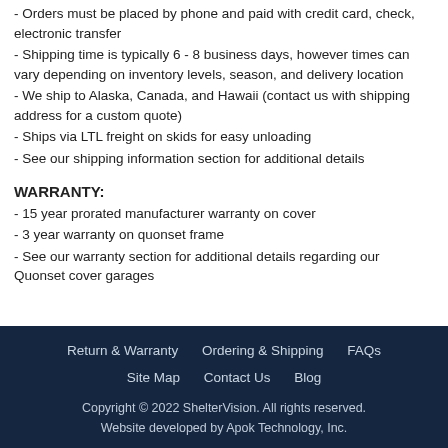- Orders must be placed by phone and paid with credit card, check, electronic transfer
- Shipping time is typically 6 - 8 business days, however times can vary depending on inventory levels, season, and delivery location
- We ship to Alaska, Canada, and Hawaii (contact us with shipping address for a custom quote)
- Ships via LTL freight on skids for easy unloading
- See our shipping information section for additional details
WARRANTY:
- 15 year prorated manufacturer warranty on cover
- 3 year warranty on quonset frame
- See our warranty section for additional details regarding our Quonset cover garages
Return & Warranty   Ordering & Shipping   FAQs   Site Map   Contact Us   Blog
Copyright © 2022 ShelterVision. All rights reserved.
Website developed by Apok Technology, Inc.